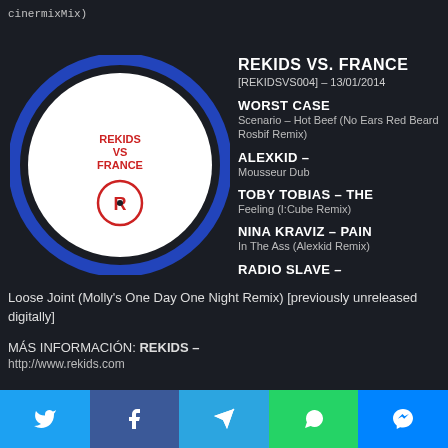cinermixMix)
[Figure (illustration): Vinyl record with blue ring and white label reading REKIDS VS FRANCE with red R logo in center circle]
REKIDS VS. FRANCE
[REKIDSVS004] – 13/01/2014
WORST CASE
Scenario – Hot Beef (No Ears Red Beard Rosbif Remix)
ALEXKID –
Mousseur Dub
TOBY TOBIAS – THE
Feeling (I:Cube Remix)
NINA KRAVIZ – PAIN
In The Ass (Alexkid Remix)
RADIO SLAVE –
Loose Joint (Molly's One Day One Night Remix) [previously unreleased digitally]
MÁS INFORMACIÓN: REKIDS – http://www.rekids.com
[Figure (infographic): Social sharing bar with Twitter, Facebook, Telegram, WhatsApp, Messenger buttons]